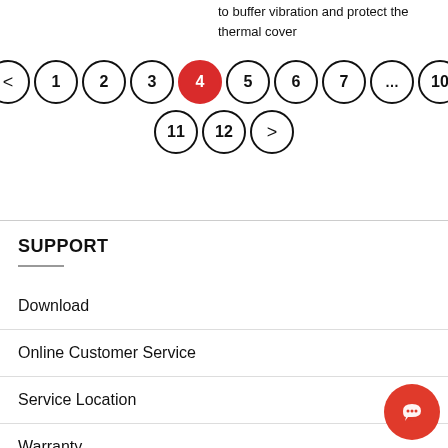to buffer vibration and protect the thermal cover
[Figure (other): Pagination controls showing pages: back arrow, 1, 2, 3, 4 (active/highlighted in red), 5, 6, 7, ..., 10, then second row: 11, 12, forward arrow]
SUPPORT
Download
Online Customer Service
Service Location
Warranty